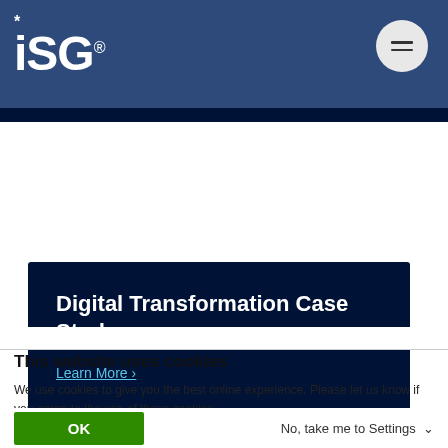ISG
[Figure (other): Dark navy blue card with title 'Digital Transformation Case Study' and 'Learn More >' link in light blue]
Digital Transformation Case Study
Learn More  >
This website uses cookies
We use cookies to give you the best online experience. Please let us know if you agree to the use of these cookies.
OK
No, take me to Settings